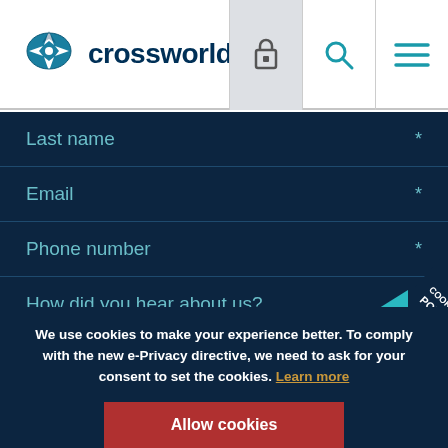[Figure (logo): Crossworld logo with compass star icon and bold dark blue text]
Last name *
Email *
Phone number *
How did you hear about us?
What are you looking for? *
Message
We use cookies to make your experience better. To comply with the new e-Privacy directive, we need to ask for your consent to set the cookies. Learn more
Allow cookies